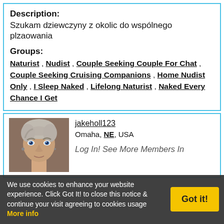Description: Szukam dziewczyny z okolic do wspólnego plzaowania
Groups: Naturist , Nudist , Couple Seeking Couple For Chat , Couple Seeking Cruising Companions , Home Nudist Only , I Sleep Naked , Lifelong Naturist , Naked Every Chance I Get
jakeholl123
Omaha, NE, USA
[Figure (photo): Profile photo of a young man with light hair and blue eyes, wearing earrings, looking slightly upward]
Log In! See More Members In
We use cookies to enhance your website experience. Click Got It! to close this notice & continue your visit agreeing to cookies usage  More info
Got it!